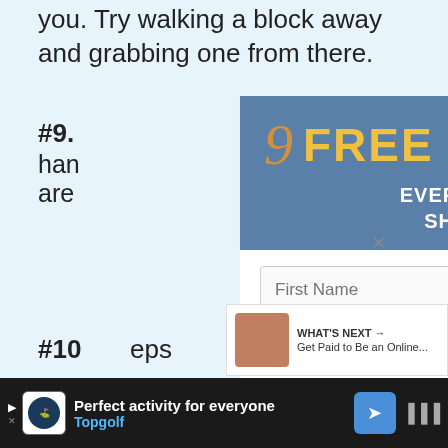you. Try walking a block away and grabbing one from there.
#9. ... #10. ... eps the ...
[Figure (screenshot): Modal popup overlay on a blog article page. The modal has a blue-gray header with italic golden '9' and orange bold 'FREE TOOLS' text, subtitle 'EVERY DIGITAL NOMAD SHOULD BE USING', a white form area with First Name and Email input fields, an orange 'Show me the tools!' button, and footer text 'Plus get access to my travel lifestyle newsletter.' A circular close button with X is in the top-right corner.]
[Figure (screenshot): Bottom advertisement bar with Topgolf branding. Shows play button icon, Topgolf logo, text 'Perfect activity for everyone' and 'Topgolf', a blue direction arrow icon, and a close/mute icon on the right.]
[Figure (screenshot): What's Next panel in bottom-right showing a thumbnail photo and text 'WHAT'S NEXT → Get Paid to Be an Online...']
Plus get access to my travel lifestyle newsletter.
4
WHAT'S NEXT → Get Paid to Be an Online...
Perfect activity for everyone Topgolf